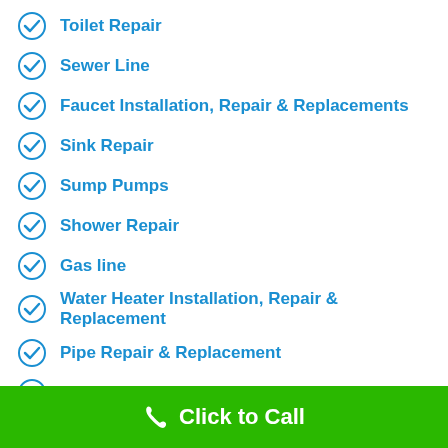Toilet Repair
Sewer Line
Faucet Installation, Repair & Replacements
Sink Repair
Sump Pumps
Shower Repair
Gas line
Water Heater Installation, Repair & Replacement
Pipe Repair & Replacement
Residential & Commercial Plumbing Service
Garbage Disposal Repair
Click to Call